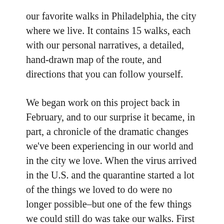our favorite walks in Philadelphia, the city where we live. It contains 15 walks, each with our personal narratives, a detailed, hand-drawn map of the route, and directions that you can follow yourself.
We began work on this project back in February, and to our surprise it became, in part, a chronicle of the dramatic changes we've been experiencing in our world and in the city we love. When the virus arrived in the U.S. and the quarantine started a lot of the things we loved to do were no longer possible–but one of the few things we could still do was take our walks. First thing in the morning; late in the evening; on large streets that have been closed to car traffic; in the city's huge park system, much of which is wooded; and on little residential blocks: Our walks have been there for us, helping us heal our bodies and emotions. Please come along and join us as we